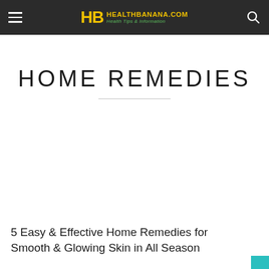HEALTHBANANA.COM — Health Tips & Information
HOME REMEDIES
5 Easy & Effective Home Remedies for Smooth & Glowing Skin in All Season